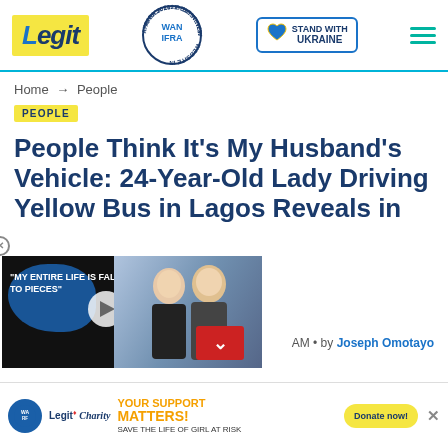Legit | WAN-IFRA Best News Website in Africa 2021 | Stand With Ukraine
Home → People
PEOPLE
People Think It's My Husband's Vehicle: 24-Year-Old Lady Driving Yellow Bus in Lagos Reveals in
[Figure (screenshot): Video player overlay showing two people and text 'MY ENTIRE LIFE IS FALLING TO PIECES' with play button]
AM • by Joseph Omotayo
[Figure (infographic): Ad banner: YOUR SUPPORT MATTERS! SAVE THE LIFE OF GIRL AT RISK - Legit Charity / WARF with Donate now button]